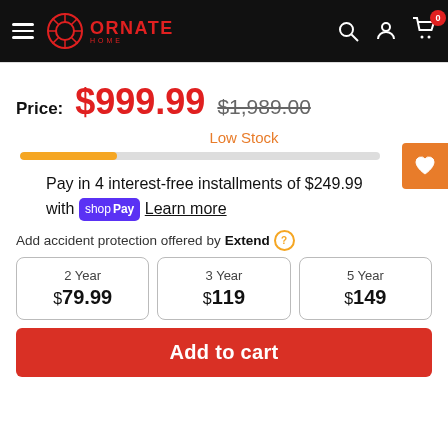Ornate Home — navigation header
Price: $999.99  $1,989.00
Low Stock
Pay in 4 interest-free installments of $249.99 with shopPay Learn more
Add accident protection offered by Extend
| Plan | Price |
| --- | --- |
| 2 Year | $79.99 |
| 3 Year | $119 |
| 5 Year | $149 |
Add to cart